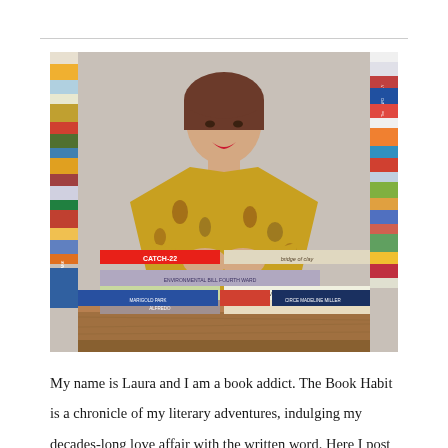[Figure (photo): A woman with brown hair and red lipstick wearing a yellow floral jacket, leaning on a large stack of books on a wooden table. More stacks of colourful books stand on either side of her. Visible book titles include Catch-22, Bridge of Clay, and Circe by Madeline Miller.]
My name is Laura and I am a book addict. The Book Habit is a chronicle of my literary adventures, indulging my decades-long love affair with the written word. Here I post